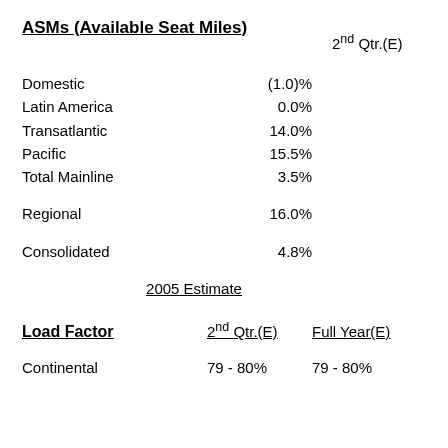ASMs (Available Seat Miles)
2nd Qtr.(E)
|  | 2nd Qtr.(E) |
| --- | --- |
| Domestic | (1.0)% |
| Latin America | 0.0% |
| Transatlantic | 14.0% |
| Pacific | 15.5% |
| Total Mainline | 3.5% |
| Regional | 16.0% |
| Consolidated | 4.8% |
2005 Estimate
Load Factor
2nd Qtr.(E)
Full Year(E)
|  | 2nd Qtr.(E) | Full Year(E) |
| --- | --- | --- |
| Continental | 79 - 80% | 79 - 80% |